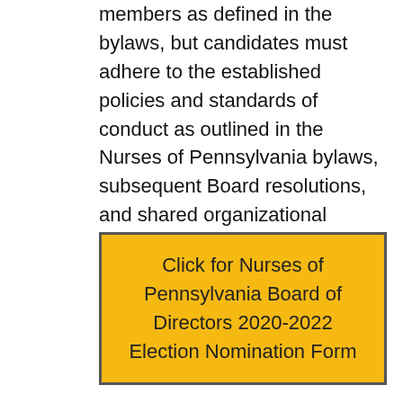members as defined in the bylaws, but candidates must adhere to the established policies and standards of conduct as outlined in the Nurses of Pennsylvania bylaws, subsequent Board resolutions, and shared organizational mission, culture, and values.
Click for Nurses of Pennsylvania Board of Directors 2020-2022 Election Nomination Form